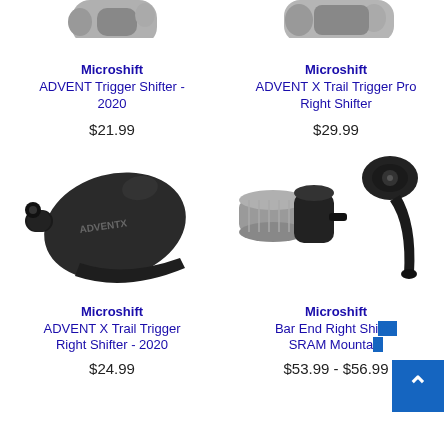[Figure (photo): Partially visible bicycle shifter product image (top, cut off) - left product]
Microshift
ADVENT Trigger Shifter - 2020
$21.99
[Figure (photo): Partially visible bicycle shifter product image (top, cut off) - right product]
Microshift
ADVENT X Trail Trigger Pro Right Shifter
$29.99
[Figure (photo): Microshift ADVENT X Trail Trigger Right Shifter - 2020 bicycle trigger shifter, black]
[Figure (photo): Microshift Bar End Right Shifter SRAM Mountain - two component parts shown]
Microshift
ADVENT X Trail Trigger Right Shifter - 2020
$24.99
Microshift
Bar End Right Shifter SRAM Mountain
$53.99 - $56.99